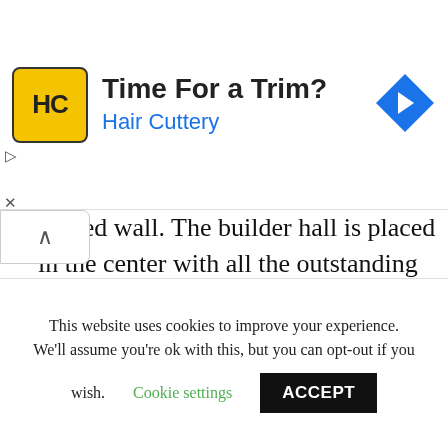[Figure (other): Hair Cuttery advertisement banner with logo, text 'Time For a Trim?' and 'Hair Cuttery', and navigation arrow icon]
maxed wall. The builder hall is placed in the center with all the outstanding defense buildings surrounding it. the buildings consist of double cannons, multi mortar, firecrackers, and resource towers. some army camps are placed in the layer surrounding the central section. This builder hall 5 base layout has very less buildings but still, this
This website uses cookies to improve your experience. We'll assume you're ok with this, but you can opt-out if you wish. Cookie settings ACCEPT